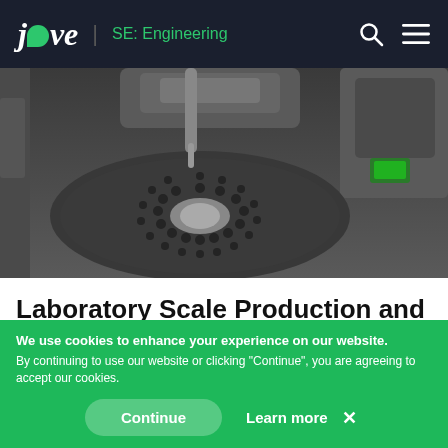jove | SE: Engineering
[Figure (photo): Close-up photograph of laboratory automation equipment showing a circular tray or carousel with multiple wells/vials, metallic robotic arm or needle mechanism above it, and lab instrument in background. The image is in dark tones of grey and silver.]
Laboratory Scale Production and Purification of a Therapeutic Antibody
[Figure (photo): Partial view of a second laboratory photo visible at the bottom of the article area before the cookie banner.]
We use cookies to enhance your experience on our website.
By continuing to use our website or clicking "Continue", you are agreeing to accept our cookies.
Continue   Learn more  ✕